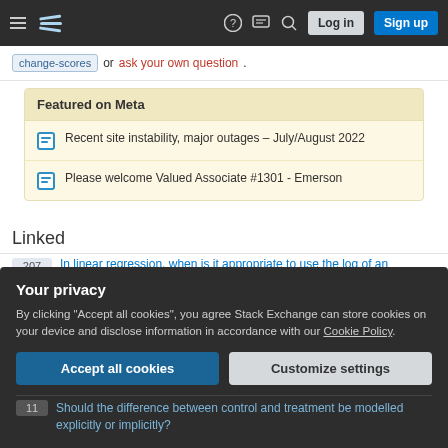Stack Exchange navigation bar with hamburger menu, logo, help, chat, search icons, Log in and Sign up buttons
change-scores or ask your own question.
Featured on Meta
Recent site instability, major outages – July/August 2022
Please welcome Valued Associate #1301 - Emerson
Linked
207 In linear regression, when is it appropriate to use the log of an independent variable instead of the actual values?
Your privacy
By clicking "Accept all cookies", you agree Stack Exchange can store cookies on your device and disclose information in accordance with our Cookie Policy.
Accept all cookies
Customize settings
11 Should the difference between control and treatment be modelled explicitly or implicitly?